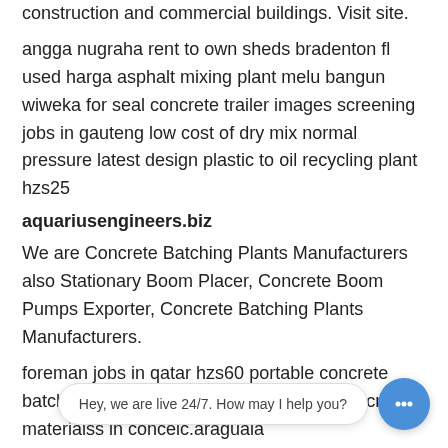construction and commercial buildings. Visit site.
angga nugraha rent to own sheds bradenton fl used harga asphalt mixing plant melu bangun wiweka for seal concrete trailer images screening jobs in gauteng low cost of dry mix normal pressure latest design plastic to oil recycling plant hzs25
aquariusengineers.biz
We are Concrete Batching Plants Manufacturers also Stationary Boom Placer, Concrete Boom Pumps Exporter, Concrete Batching Plants Manufacturers.
foreman jobs in qatar hzs60 portable concrete batch plant m3 concrete materials 1m3 concrete materialss in conceic.araguaia
You Can Use A Small Concrete Batching Plant At Many Different
Advantages of small cement batch plant. You can certainly take
There is the self loader, which is extremely popular with